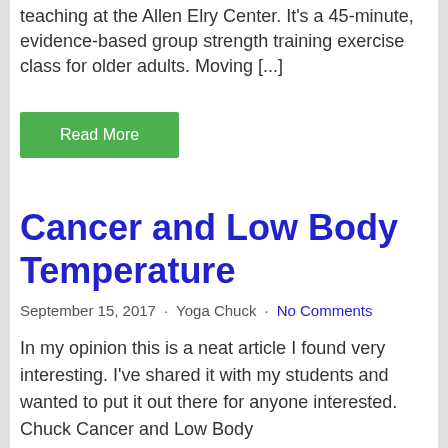teaching at the Allen Elry Center. It's a 45-minute, evidence-based group strength training exercise class for older adults. Moving [...]
Read More
Cancer and Low Body Temperature
September 15, 2017  ·  Yoga Chuck  ·  No Comments
In my opinion this is a neat article I found very interesting. I've shared it with my students and wanted to put it out there for anyone interested. Chuck Cancer and Low Body